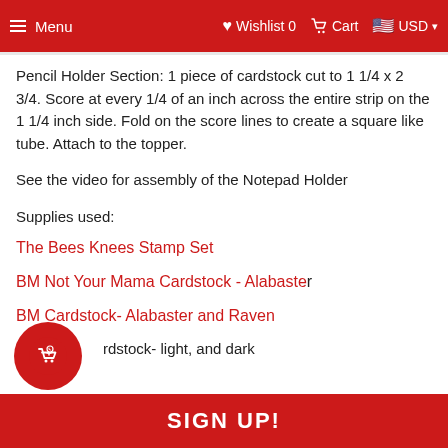Menu   Wishlist 0   Cart   USD
Pencil Holder Section: 1 piece of cardstock cut to 1 1/4 x 2 3/4. Score at every 1/4 of an inch across the entire strip on the 1 1/4 inch side. Fold on the score lines to create a square like tube. Attach to the topper.
See the video for assembly of the Notepad Holder
Supplies used:
The Bees Knees Stamp Set
BM Not Your Mama Cardstock - Alabaster
BM Cardstock- Alabaster and Raven
Yellow cardstock- light, and dark
SIGN UP!